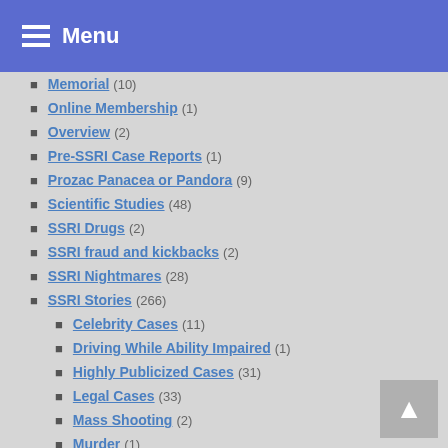Menu
Memorial (10)
Online Membership (1)
Overview (2)
Pre-SSRI Case Reports (1)
Prozac Panacea or Pandora (9)
Scientific Studies (48)
SSRI Drugs (2)
SSRI fraud and kickbacks (2)
SSRI Nightmares (28)
SSRI Stories (266)
Celebrity Cases (11)
Driving While Ability Impaired (1)
Highly Publicized Cases (31)
Legal Cases (33)
Mass Shooting (2)
Murder (1)
Murder-Suicides (80)
Murders / Murder Attempts (86)
Postpartum Cases (6)
Road Rage Cases (6)